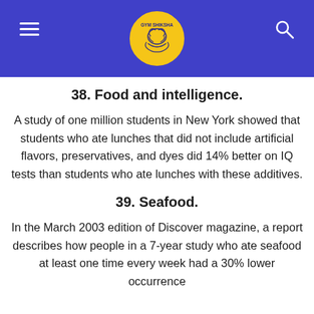GYM SHIKSHA (logo)
38. Food and intelligence.
A study of one million students in New York showed that students who ate lunches that did not include artificial flavors, preservatives, and dyes did 14% better on IQ tests than students who ate lunches with these additives.
39. Seafood.
In the March 2003 edition of Discover magazine, a report describes how people in a 7-year study who ate seafood at least one time every week had a 30% lower occurrence